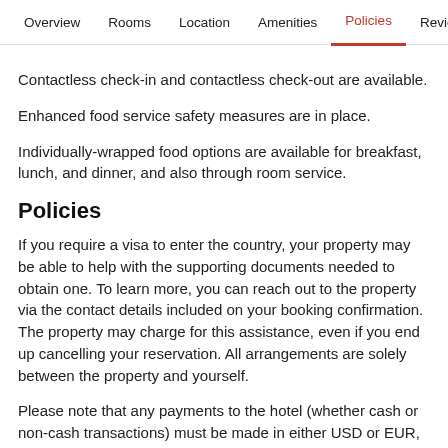Overview  Rooms  Location  Amenities  Policies  Reviews
Contactless check-in and contactless check-out are available.
Enhanced food service safety measures are in place.
Individually-wrapped food options are available for breakfast, lunch, and dinner, and also through room service.
Policies
If you require a visa to enter the country, your property may be able to help with the supporting documents needed to obtain one. To learn more, you can reach out to the property via the contact details included on your booking confirmation. The property may charge for this assistance, even if you end up cancelling your reservation. All arrangements are solely between the property and yourself.
Please note that any payments to the hotel (whether cash or non-cash transactions) must be made in either USD or EUR, whichever is accepted by the property.
Only registered guests are allowed in the guestrooms.